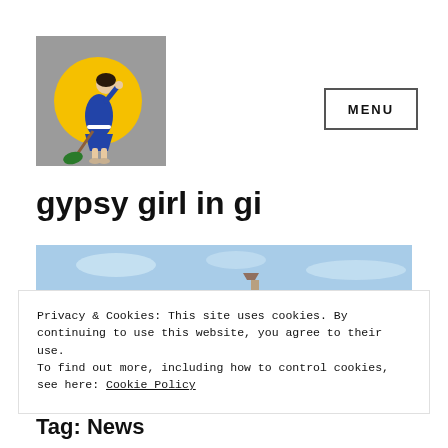[Figure (illustration): Website logo: cartoon woman in blue dress with a broom on a grey background with yellow circle]
MENU
gypsy girl in gi
[Figure (photo): Landscape photo of a green hill with a tower/monument at the top, blue sky with light clouds]
Privacy & Cookies: This site uses cookies. By continuing to use this website, you agree to their use.
To find out more, including how to control cookies, see here: Cookie Policy
Close and accept
Tag: News